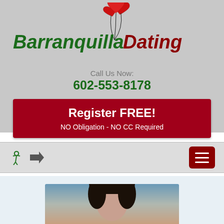[Figure (logo): Barranquilla Dating logo with red heart balloons on strings above the text. 'Barranquilla' in bold italic dark green, 'Dating' in bold italic dark red.]
Call Us Now:
602-553-8178
Register FREE!
NO Obligation - NO CC Required
[Figure (infographic): Navigation bar with accessibility icon and arrow icon on the left, and a dark red hamburger menu button on the right.]
[Figure (photo): Partial photo of a person with dark hair, cropped at bottom of page.]